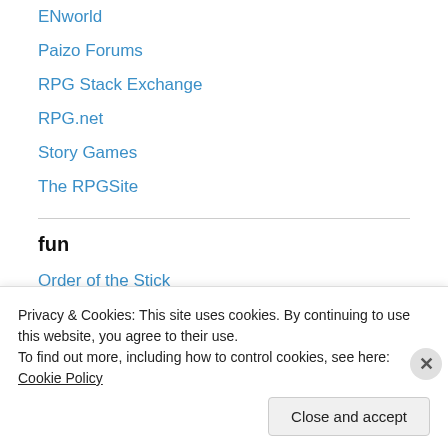ENworld
Paizo Forums
RPG Stack Exchange
RPG.net
Story Games
The RPGSite
fun
Order of the Stick
game companies
Privacy & Cookies: This site uses cookies. By continuing to use this website, you agree to their use.
To find out more, including how to control cookies, see here: Cookie Policy
Close and accept